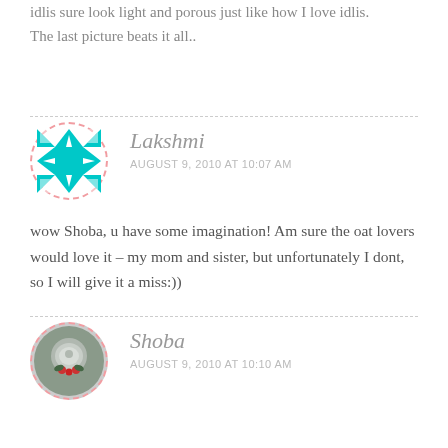Idlis sure look light and porous just like how I love idlis. The last picture beats it all..
[Figure (illustration): Avatar icon for Lakshmi - teal/cyan geometric quilt pattern in a circle with dashed pink border]
Lakshmi
AUGUST 9, 2010 AT 10:07 AM
wow Shoba, u have some imagination! Am sure the oat lovers would love it – my mom and sister, but unfortunately I dont, so I will give it a miss:))
[Figure (photo): Avatar photo for Shoba - circular image with dashed pink border showing a decorated bowl or dish with red flowers/berries]
Shoba
AUGUST 9, 2010 AT 10:10 AM